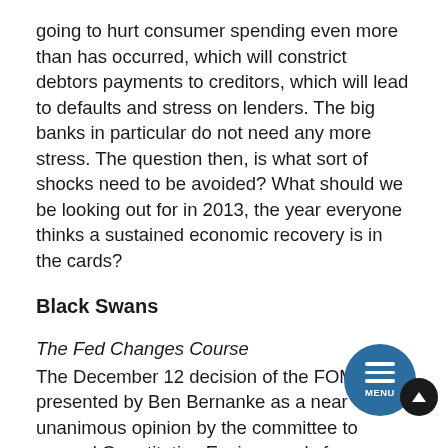going to hurt consumer spending even more than has occurred, which will constrict debtors payments to creditors, which will lead to defaults and stress on lenders. The big banks in particular do not need any more stress. The question then, is what sort of shocks need to be avoided? What should we be looking out for in 2013, the year everyone thinks a sustained economic recovery is in the cards?
Black Swans
The Fed Changes Course
The December 12 decision of the FOMC was presented by Ben Bernanke as a near unanimous opinion by the committee to expand Quantitative Easing nearly forever. The truth as reported in the minutes that came out later was different. Several members of the committee were very concerned about the unwanted effect of the expansion into